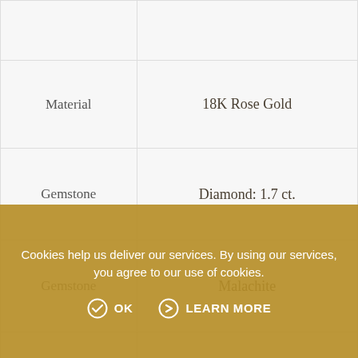|  |  |
| --- | --- |
|  |  |
| Material | 18K Rose Gold |
| Gemstone | Diamond: 1.7 ct. |
| Gemstone | Malachite |
|  | Each and every Molu jewel is hand crafted. As a result... |
Cookies help us deliver our services. By using our services, you agree to our use of cookies.
OK   LEARN MORE